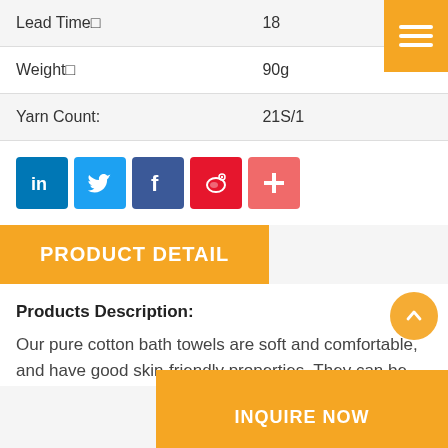| Lead Time□ | 18 |
| Weight□ | 90g |
| Yarn Count: | 21S/1 |
[Figure (infographic): Social sharing icons row: LinkedIn (blue), Twitter (light blue), Facebook (dark blue), Weibo (red), and a red plus/more button]
PRODUCT DETAIL
Products Description:
Our pure cotton bath towels are soft and comfortable, and have good skin-friendly properties. They can be used by adults and children.